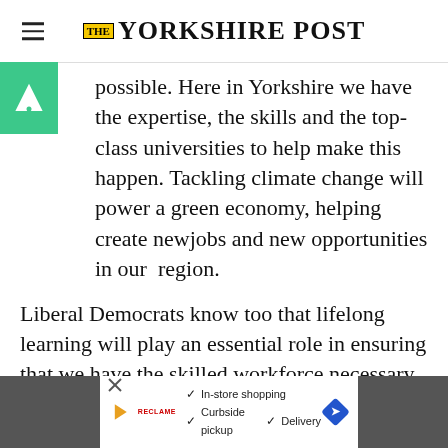THE YORKSHIRE POST
possible. Here in Yorkshire we have the expertise, the skills and the top-class universities to help make this happen. Tackling climate change will power a green economy, helping create newjobs and new opportunities in our region.
Liberal Democrats know too that lifelong learning will play an essential role in ensuring that we have the skilled workforce necessary to power the economy.
[Figure (other): Bottom advertisement bar with In-store shopping, Curbside pickup, Delivery options and navigation icon]
I w... g
eve...